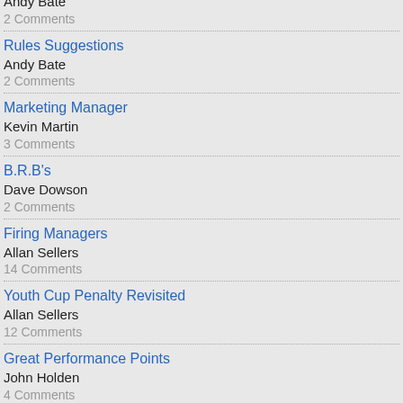Rules Suggestions
Andy Bate
2 Comments
Marketing Manager
Kevin Martin
3 Comments
B.R.B's
Dave Dowson
2 Comments
Firing Managers
Allan Sellers
14 Comments
Youth Cup Penalty Revisited
Allan Sellers
12 Comments
Great Performance Points
John Holden
4 Comments
Award for Defensive Prowess?
Mike Cabral
9 Comments